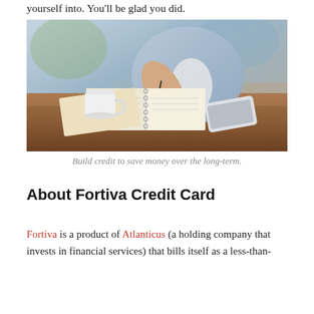yourself into. You'll be glad you did.
[Figure (photo): Person sitting at a wooden table writing in a notebook with a pen, coffee cup nearby, open books, and a smartphone on the table. Background shows a blurred cafe or office setting.]
Build credit to save money over the long-term.
About Fortiva Credit Card
Fortiva is a product of Atlanticus (a holding company that invests in financial services) that bills itself as a less-than-